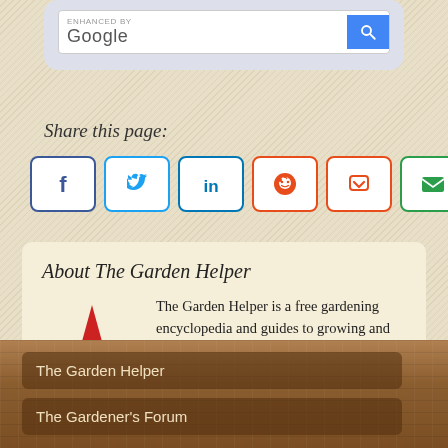[Figure (screenshot): Google enhanced search bar with blue search button]
Share this page:
[Figure (infographic): Row of six social share buttons: Facebook (blue), Twitter (blue), LinkedIn (blue), Reddit (orange), Pocket (red), Email (green)]
About The Garden Helper
[Figure (photo): Garden gnome figurine with red hat pushing a wheelbarrow]
The Garden Helper is a free gardening encyclopedia and guides to growing and caring for gardens, plants and flowers. Helping gardeners grow their dreams since 1997. No-dash-here.
The Garden Helper
The Gardener's Forum